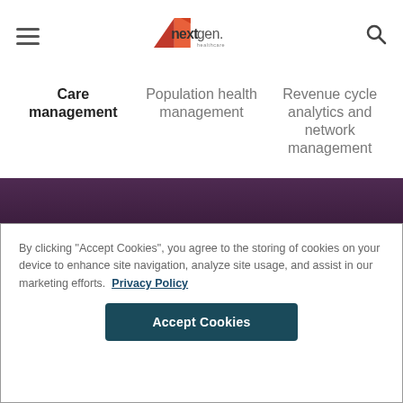nextgen healthcare
Care management
Population health management
Revenue cycle analytics and network management
By clicking “Accept Cookies”, you agree to the storing of cookies on your device to enhance site navigation, analyze site usage, and assist in our marketing efforts. Privacy Policy
Accept Cookies